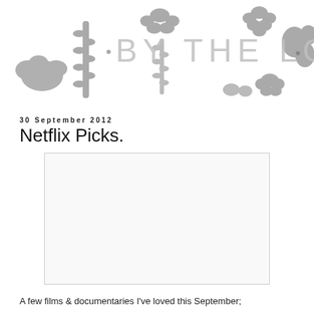[Figure (illustration): Blog header banner with decorative floral/botanical shapes in grey on white background. Text reads '· BY THE LOCK·' in large spaced letters integrated with the decorative elements.]
30 September 2012
Netflix Picks.
[Figure (photo): A blank/white rectangular image placeholder for a photo or embedded image.]
A few films & documentaries I've loved this September;